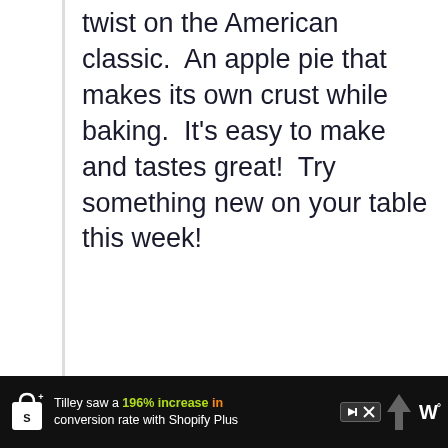twist on the American classic.  An apple pie that makes its own crust while baking.  It's easy to make and tastes great!  Try something new on your table this week!
Read More
[Figure (illustration): A large circular placeholder image (light gray circle), with a teal heart/like button showing count 3, and a share button on the right side. A 'WHAT'S NEXT' panel in the lower right shows a small thumbnail and text '40+ Valentine's...']
[Figure (screenshot): Ad bar at the bottom: Shopify bag icon, text 'Tilley saw a 196% increase in conversion rate with Shopify Plus', with an upward arrow graphic and a stylized W logo on the right. Skip/close ad controls shown.]